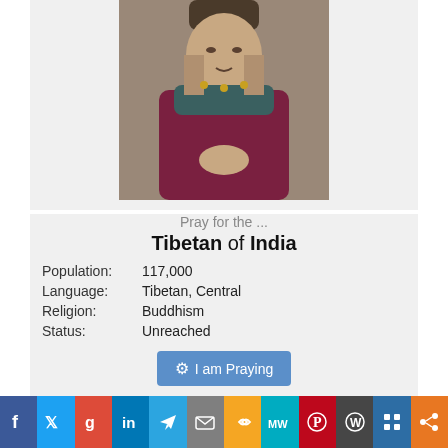[Figure (photo): Photo of an elderly Tibetan woman wearing traditional clothing and jewelry, with a hat]
Pray for the ...
Tibetan of India
| Population: | 117,000 |
| Language: | Tibetan, Central |
| Religion: | Buddhism |
| Status: | Unreached |
I am Praying
Get Unreached of the Day by email, mob app, podcast or widget.
Categories/Categorías
1 Corintios  1 Pedro  1